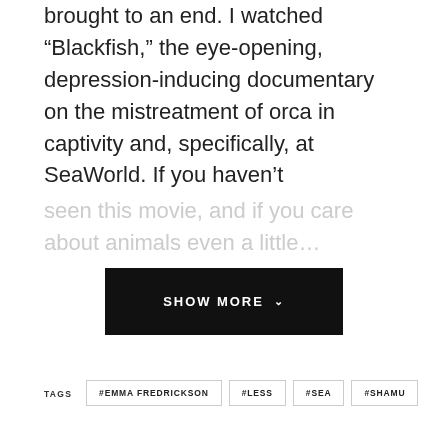brought to an end. I watched “Blackfish,” the eye-opening, depression-inducing documentary on the mistreatment of orca in captivity and, specifically, at SeaWorld. If you haven’t seen this movie, and if you care about animals even a little…
[Figure (screenshot): SHOW MORE button with chevron, black background, white uppercase text]
TAGS  #EMMA FREDRICKSON  #LESS  #SEA  #SHAMU  #WORLD
Previous
The U.S. won’t win the Nobel for Literature